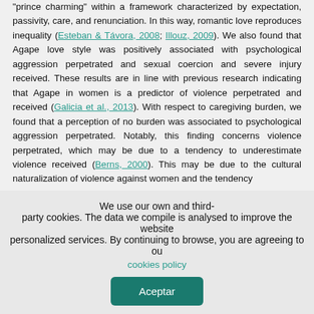'prince charming' within a framework characterized by expectation, passivity, care, and renunciation. In this way, romantic love reproduces inequality (Esteban & Távora, 2008; Illouz, 2009). We also found that Agape love style was positively associated with psychological aggression perpetrated and sexual coercion and severe injury received. These results are in line with previous research indicating that Agape in women is a predictor of violence perpetrated and received (Galicia et al., 2013). With respect to caregiving burden, we found that a perception of no burden was associated to psychological aggression perpetrated. Notably, this finding concerns violence perpetrated, which may be due to a tendency to underestimate violence received (Berns, 2000). This may be due to the cultural naturalization of violence against women and the tendency
We use our own and third-party cookies. The data we compile is analysed to improve the website personalized services. By continuing to browse, you are agreeing to our cookies policy